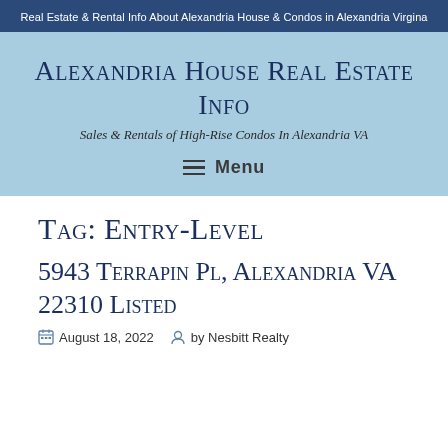Real Estate & Rental Info About Alexandria House & Condos in Alexandria Virgina
Alexandria House Real Estate Info
Sales & Rentals of High-Rise Condos In Alexandria VA
Menu
Tag: Entry-Level
5943 Terrapin Pl, Alexandria VA 22310 Listed
August 18, 2022  by Nesbitt Realty